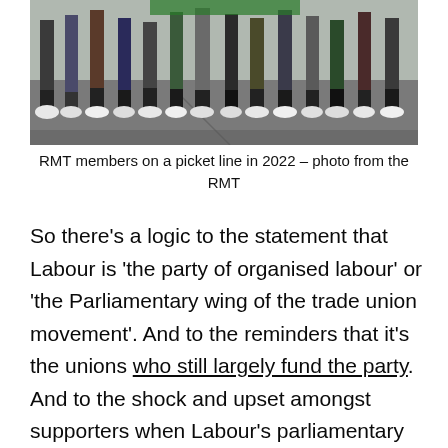[Figure (photo): Group of people standing on a street; photo cropped to show legs and lower bodies with some signage visible at top, RMT picket line 2022]
RMT members on a picket line in 2022 – photo from the RMT
So there's a logic to the statement that Labour is 'the party of organised labour' or 'the Parliamentary wing of the trade union movement'. And to the reminders that it's the unions who still largely fund the party. And to the shock and upset amongst supporters when Labour's parliamentary leadership fails to support union action or even opposes it.